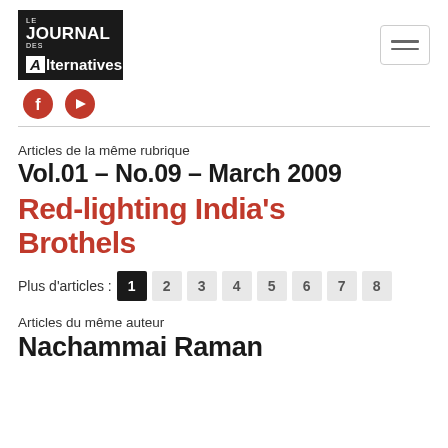[Figure (logo): Le Journal des Alternatives logo — black background with white text]
[Figure (other): Hamburger menu icon (three horizontal lines) in a bordered box]
[Figure (other): Social media icons — red circles for Facebook and YouTube]
Articles de la même rubrique
Vol.01 – No.09 – March 2009
Red-lighting India's Brothels
Plus d'articles : 1 2 3 4 5 6 7 8
Articles du même auteur
Nachammai Raman